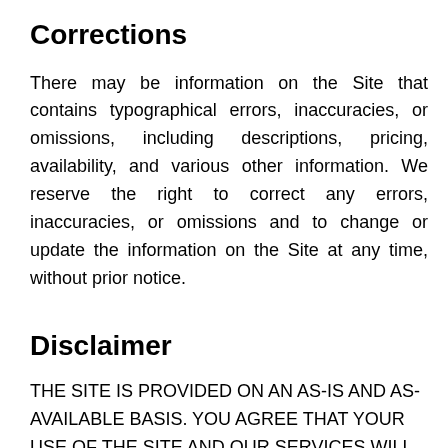Corrections
There may be information on the Site that contains typographical errors, inaccuracies, or omissions, including descriptions, pricing, availability, and various other information. We reserve the right to correct any errors, inaccuracies, or omissions and to change or update the information on the Site at any time, without prior notice.
Disclaimer
THE SITE IS PROVIDED ON AN AS-IS AND AS-AVAILABLE BASIS. YOU AGREE THAT YOUR USE OF THE SITE AND OUR SERVICES WILL BE AT YOUR